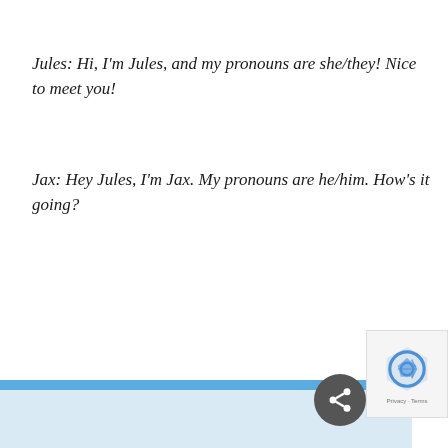Jules: Hi, I'm Jules, and my pronouns are she/they! Nice to meet you!
Jax: Hey Jules, I'm Jax. My pronouns are he/him. How's it going?
[Figure (screenshot): Bottom UI bar with a share button (dark circular icon) and a reCAPTCHA privacy widget on the right. A blue horizontal stripe separates the white content area from the light blue bottom area.]